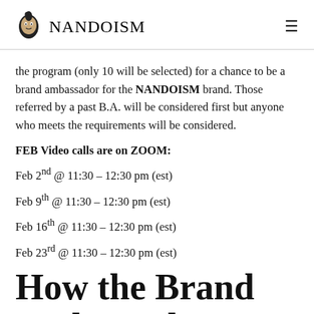NANDOISM
the program (only 10 will be selected) for a chance to be a brand ambassador for the NANDOISM brand. Those referred by a past B.A. will be considered first but anyone who meets the requirements will be considered.
FEB Video calls are on ZOOM:
Feb 2nd @ 11:30 – 12:30 pm (est)
Feb 9th @ 11:30 – 12:30 pm (est)
Feb 16th @ 11:30 – 12:30 pm (est)
Feb 23rd @ 11:30 – 12:30 pm (est)
How the Brand Ambassadors